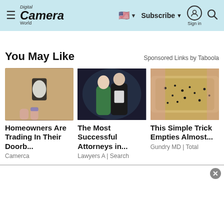Digital Camera World | Subscribe | Sign in
You May Like
Sponsored Links by Taboola
[Figure (photo): Photo of a doorbell camera being installed on a sandy/stone wall]
Homeowners Are Trading In Their Doorb...
Camerca
[Figure (photo): Photo of a man and woman at a formal event, woman in green dress]
The Most Successful Attorneys in...
Lawyers A | Search
[Figure (photo): Close-up photo of food with black pepper/seasoning]
This Simple Trick Empties Almost...
Gundry MD | Total